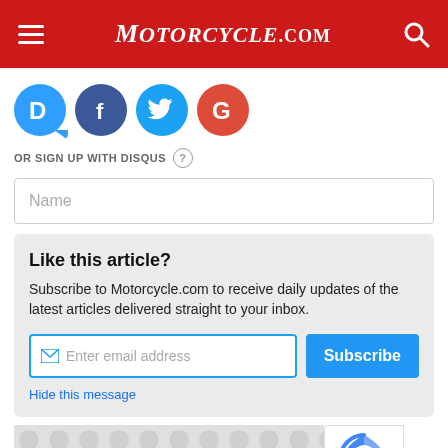Motorcycle.com
[Figure (logo): Social login icons: Disqus (D, blue), Facebook (f, dark blue), Twitter (bird, light blue), Google (G, red)]
OR SIGN UP WITH DISQUS
Name
Like this article? Subscribe to Motorcycle.com to receive daily updates of the latest articles delivered straight to your inbox.
Enter email address
Subscribe
Hide this message